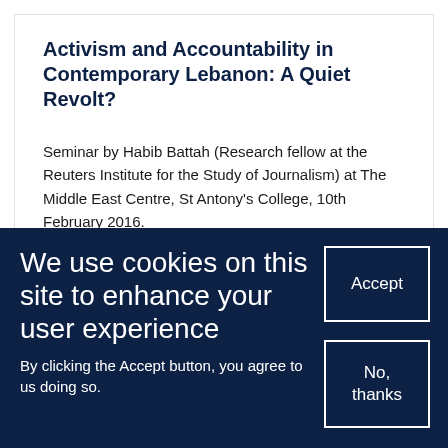Activism and Accountability in Contemporary Lebanon: A Quiet Revolt?
Seminar by Habib Battah (Research fellow at the Reuters Institute for the Study of Journalism) at The Middle East Centre, St Antony's College, 10th February 2016.
We use cookies on this site to enhance your user experience
Accept
No, thanks
By clicking the Accept button, you agree to us doing so.